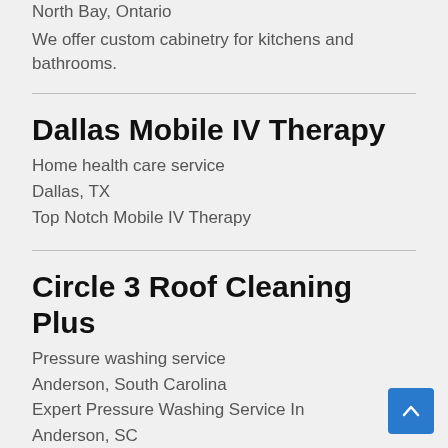North Bay, Ontario
We offer custom cabinetry for kitchens and bathrooms.
Dallas Mobile IV Therapy
Home health care service
Dallas, TX
Top Notch Mobile IV Therapy
Circle 3 Roof Cleaning Plus
Pressure washing service
Anderson, South Carolina
Expert Pressure Washing Service In Anderson, SC